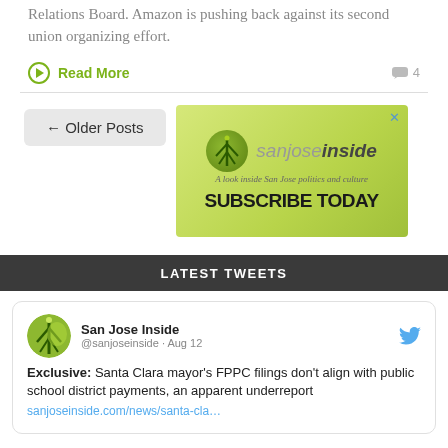Relations Board. Amazon is pushing back against its second union organizing effort.
Read More
[Figure (screenshot): San Jose Inside advertisement banner with tower logo, tagline 'A look inside San Jose politics and culture' and 'SUBSCRIBE TODAY']
LATEST TWEETS
San Jose Inside @sanjoseinside · Aug 12
Exclusive: Santa Clara mayor's FPPC filings don't align with public school district payments, an apparent underreport
sanjoseinside.com/news/santa-cla…